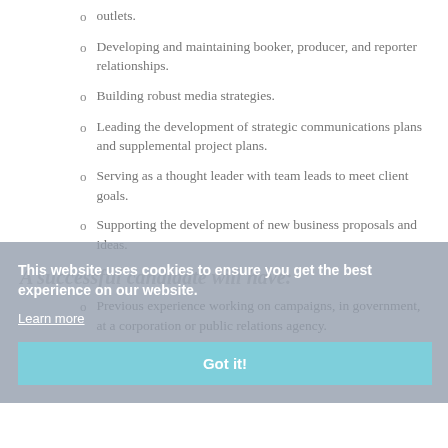outlets.
Developing and maintaining booker, producer, and reporter relationships.
Building robust media strategies.
Leading the development of strategic communications plans and supplemental project plans.
Serving as a thought leader with team leads to meet client goals.
Supporting the development of new business proposals and ideas.
A successful candidate will have:
Previous experience working on campaigns, in government, at a corporation or public relations agency.